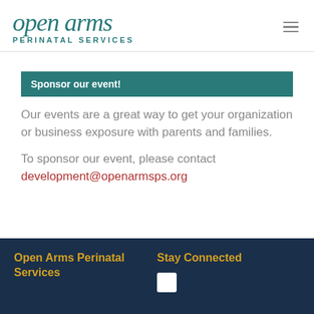Open Arms Perinatal Services
Sponsor our event!
Our events are a great way to get your organization or business exposure with parents and families.
To sponsor our event, please contact development@openarmsps.org
Open Arms Perinatal Services | Stay Connected